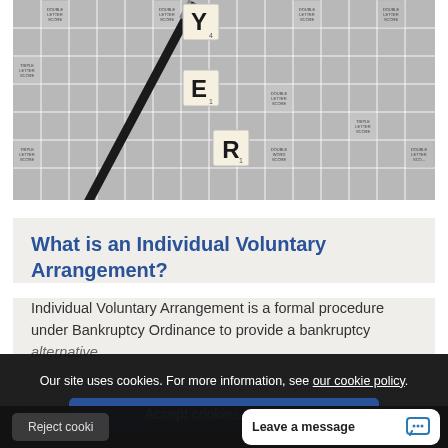[Figure (photo): Scrabble board tiles spelling letters Y, E, R with a dark pencil/pen lying across the board. Black and white photo.]
What is an Individual Voluntary Arrangement?
Individual Voluntary Arrangement is a formal procedure under Bankruptcy Ordinance to provide a bankruptcy alternative.
Our site uses cookies. For more information, see our cookie policy.
Accept cookies and close
Reject cooki...
Leave a message